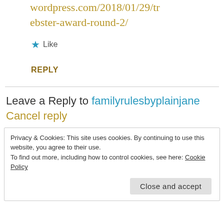wordpress.com/2018/01/29/trebster-award-round-2/
★ Like
REPLY
Leave a Reply to familyrulesbyplainjane
Cancel reply
Privacy & Cookies: This site uses cookies. By continuing to use this website, you agree to their use.
To find out more, including how to control cookies, see here: Cookie Policy
Close and accept